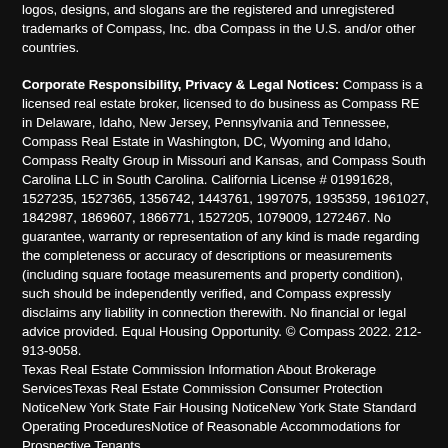logos, designs, and slogans are the registered and unregistered trademarks of Compass, Inc. dba Compass in the U.S. and/or other countries.
Corporate Responsibility, Privacy & Legal Notices: Compass is a licensed real estate broker, licensed to do business as Compass RE in Delaware, Idaho, New Jersey, Pennsylvania and Tennessee, Compass Real Estate in Washington, DC, Wyoming and Idaho, Compass Realty Group in Missouri and Kansas, and Compass South Carolina LLC in South Carolina. California License # 01991628, 1527235, 1527365, 1356742, 1443761, 1997075, 1935359, 1961027, 1842987, 1869607, 1866771, 1527205, 1079009, 1272467. No guarantee, warranty or representation of any kind is made regarding the completeness or accuracy of descriptions or measurements (including square footage measurements and property condition), such should be independently verified, and Compass expressly disclaims any liability in connection therewith. No financial or legal advice provided. Equal Housing Opportunity. © Compass 2022. 212-913-9058.
Texas Real Estate Commission Information About Brokerage ServicesTexas Real Estate Commission Consumer Protection NoticeNew York State Fair Housing NoticeNew York State Standard Operating ProceduresNotice of Reasonable Accommodations for Prospective Tenants
Compass does not discriminate against voucher holders pursuant